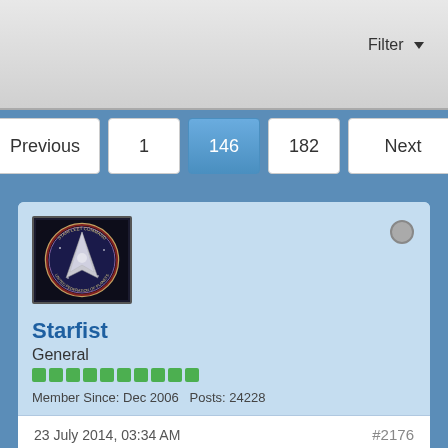[Figure (screenshot): Filter button with dropdown arrow in top bar]
Previous
1
146
182
Next
[Figure (illustration): User avatar: Star Trek Starfleet Command badge/emblem on dark background]
Starfist
General
Member Since: Dec 2006   Posts: 24228
23 July 2014, 03:34 AM
#2176
1st place - River Song, Doctor Who (50)
2nd Place - Janet Fraiser, SG-1 (50)
3rd Place - Marcus Cole, Babylon 5 (50)
4th Place - Jacob Carter/Selmak, SG1 (50)
5th place - Simon Bellamy, Misfits (50)